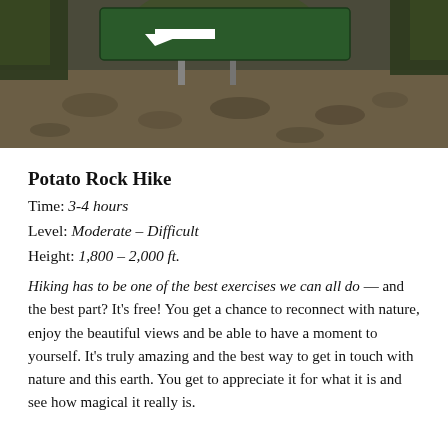[Figure (photo): Outdoor trail sign with white arrow pointing left, surrounded by trees and dappled sunlight on a dirt path.]
Potato Rock Hike
Time: 3-4 hours
Level: Moderate – Difficult
Height: 1,800 – 2,000 ft.
Hiking has to be one of the best exercises we can all do — and the best part? It's free! You get a chance to reconnect with nature, enjoy the beautiful views and be able to have a moment to yourself. It's truly amazing and the best way to get in touch with nature and this earth. You get to appreciate it for what it is and see how magical it really is.